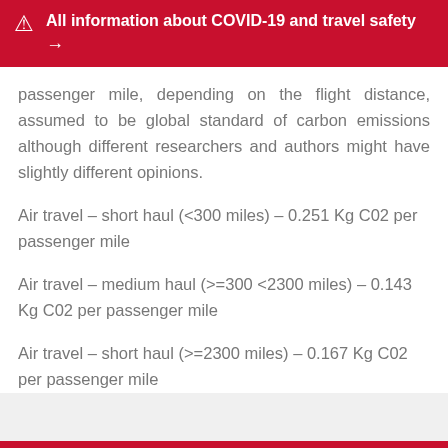All information about COVID-19 and travel safety →
passenger mile, depending on the flight distance, assumed to be global standard of carbon emissions although different researchers and authors might have slightly different opinions.
Air travel – short haul (<300 miles) – 0.251 Kg C02 per passenger mile
Air travel – medium haul (>=300 <2300 miles) – 0.143 Kg C02 per passenger mile
Air travel – short haul (>=2300 miles) – 0.167 Kg C02 per passenger mile